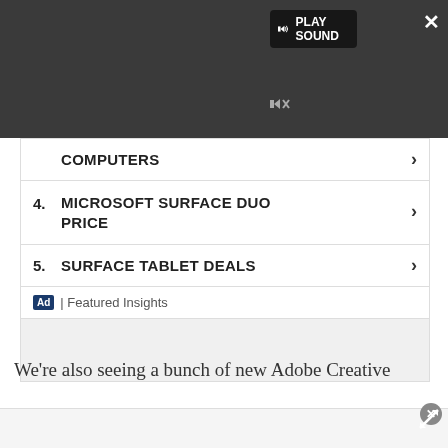[Figure (screenshot): Video player overlay with dark background, play sound label, play button circle, mute icon, and progress bar]
COMPUTERS
4. MICROSOFT SURFACE DUO PRICE
5. SURFACE TABLET DEALS
Ad | Featured Insights
We're also seeing a bunch of new Adobe Creative